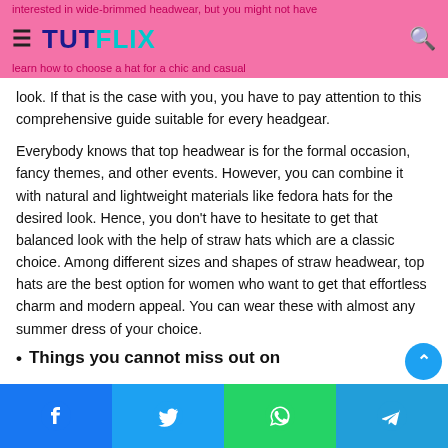TUTFLIX — interested in wide-brimmed headwear, but you might not have learned how to choose a hat for a chic and casual look.
look. If that is the case with you, you have to pay attention to this comprehensive guide suitable for every headgear.
Everybody knows that top headwear is for the formal occasion, fancy themes, and other events. However, you can combine it with natural and lightweight materials like fedora hats for the desired look. Hence, you don't have to hesitate to get that balanced look with the help of straw hats which are a classic choice. Among different sizes and shapes of straw headwear, top hats are the best option for women who want to get that effortless charm and modern appeal. You can wear these with almost any summer dress of your choice.
Things you cannot miss out on
Facebook | Twitter | WhatsApp | Telegram